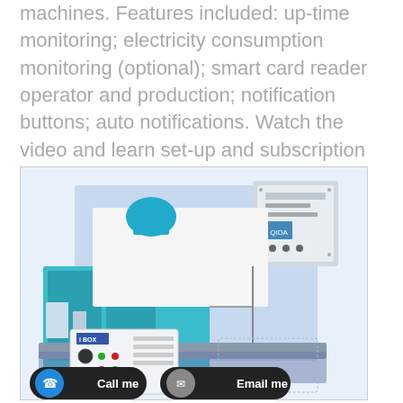machines. Features included: up-time monitoring; electricity consumption monitoring (optional); smart card reader operator and production; notification buttons; auto notifications. Watch the video and learn set-up and subscription prices.
[Figure (illustration): 3D illustration of an industrial injection molding machine with a monitoring box (labeled BOX) on the lower left, connected to an electricity meter mounted on a blue panel at upper right. Call me and Email me buttons overlaid at the bottom.]